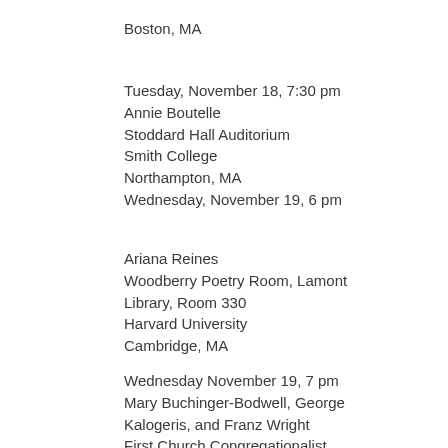Boston, MA
Tuesday, November 18, 7:30 pm
Annie Boutelle
Stoddard Hall Auditorium
Smith College
Northampton, MA
Wednesday, November 19, 6 pm
Ariana Reines
Woodberry Poetry Room, Lamont Library, Room 330
Harvard University
Cambridge, MA
Wednesday November 19, 7 pm
Mary Buchinger-Bodwell, George Kalogeris, and Franz Wright
First Church Congregationalist